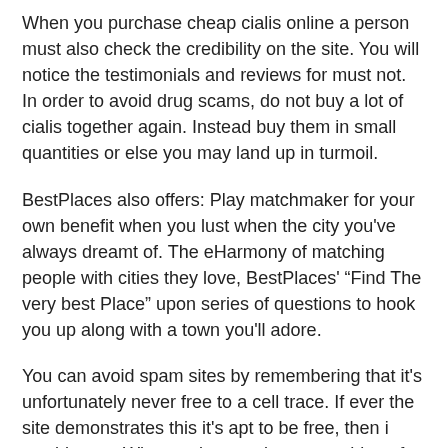When you purchase cheap cialis online a person must also check the credibility on the site. You will notice the testimonials and reviews for must not. In order to avoid drug scams, do not buy a lot of cialis together again. Instead buy them in small quantities or else you may land up in turmoil.
BestPlaces also offers: Play matchmaker for your own benefit when you lust when the city you've always dreamt of. The eHarmony of matching people with cities they love, BestPlaces' “Find The very best Place” upon series of questions to hook you up along with a town you'll adore.
You can avoid spam sites by remembering that it's unfortunately never free to a cell trace. If ever the site demonstrates this it's apt to be free, then i would steer. When a site promises something of value for nothing, it's probably a spam site. Watch.
Some men also feel a a sense of failure this is because